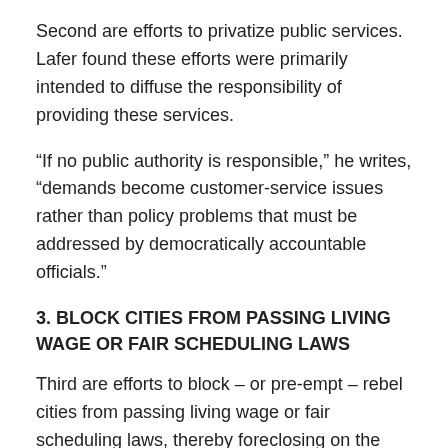Second are efforts to privatize public services. Lafer found these efforts were primarily intended to diffuse the responsibility of providing these services.
“If no public authority is responsible,” he writes, “demands become customer-service issues rather than policy problems that must be addressed by democratically accountable officials.”
3. BLOCK CITIES FROM PASSING LIVING WAGE OR FAIR SCHEDULING LAWS
Third are efforts to block – or pre-empt – rebel cities from passing living wage or fair scheduling laws, thereby foreclosing on the ability of localities to defend and advance progressive goals.